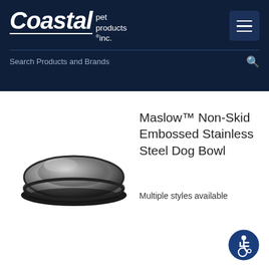Coastal pet products inc. — Search Products and Brands
[Figure (logo): Coastal Pet Products Inc. logo in white on dark navy background with hamburger menu icon]
[Figure (photo): Maslow Non-Skid Embossed Stainless Steel Dog Bowl — round stainless steel bowl with black rubber non-skid base, viewed from slight above angle]
Maslow™ Non-Skid Embossed Stainless Steel Dog Bowl
Multiple styles available
[Figure (illustration): Accessibility icon — blue circle with white wheelchair user symbol]